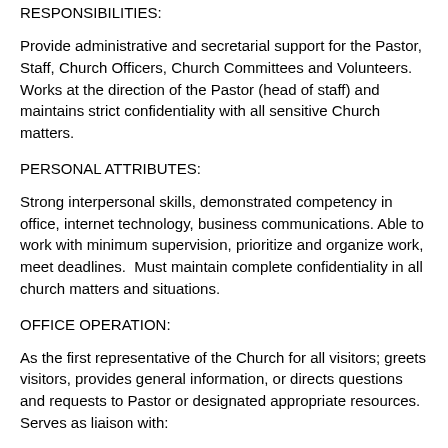RESPONSIBILITIES:
Provide administrative and secretarial support for the Pastor, Staff, Church Officers, Church Committees and Volunteers. Works at the direction of the Pastor (head of staff) and maintains strict confidentiality with all sensitive Church matters.
PERSONAL ATTRIBUTES:
Strong interpersonal skills, demonstrated competency in office, internet technology, business communications. Able to work with minimum supervision, prioritize and organize work, meet deadlines.  Must maintain complete confidentiality in all church matters and situations.
OFFICE OPERATION:
As the first representative of the Church for all visitors; greets visitors, provides general information, or directs questions and requests to Pastor or designated appropriate resources. Serves as liaison with: